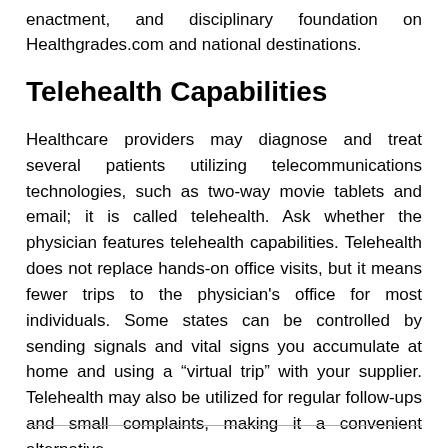enactment, and disciplinary foundation on Healthgrades.com and national destinations.
Telehealth Capabilities
Healthcare providers may diagnose and treat several patients utilizing telecommunications technologies, such as two-way movie tablets and email; it is called telehealth. Ask whether the physician features telehealth capabilities. Telehealth does not replace hands-on office visits, but it means fewer trips to the physician's office for most individuals. Some states can be controlled by sending signals and vital signs you accumulate at home and using a “virtual trip” with your supplier. Telehealth may also be utilized for regular follow-ups and small complaints, making it a convenient alternative….